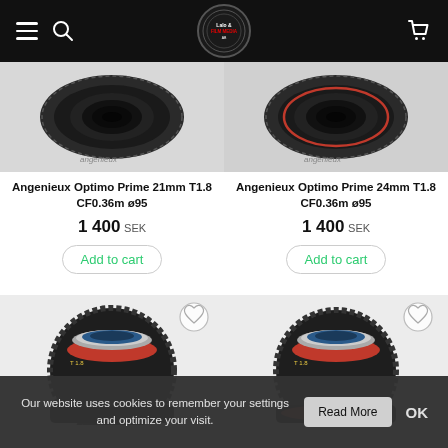Navigation bar with hamburger menu, search icon, logo, and cart icon
[Figure (photo): Angenieux Optimo Prime 21mm lens top view on grey background]
Angenieux Optimo Prime 21mm T1.8 CF0.36m ø95
1 400 SEK
Add to cart
[Figure (photo): Angenieux Optimo Prime 24mm lens top view on grey background]
Angenieux Optimo Prime 24mm T1.8 CF0.36m ø95
1 400 SEK
Add to cart
[Figure (photo): Cinema lens with red and black barrel, bottom left product card]
[Figure (photo): Cinema lens with red and black barrel, bottom right product card]
Our website uses cookies to remember your settings and optimize your visit.
Read More
OK